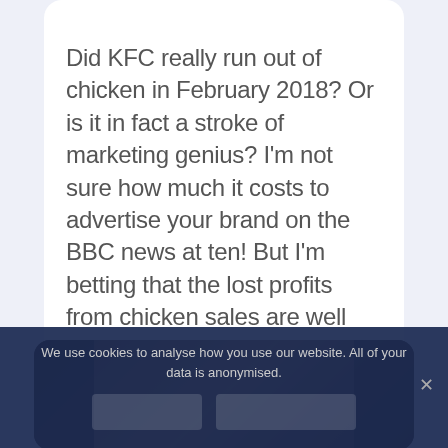Did KFC really run out of chicken in February 2018? Or is it in fact a stroke of marketing genius? I'm not sure how much it costs to advertise your brand on the BBC news at ten! But I'm betting that the lost profits from chicken sales are well worth the media...
[Figure (photo): Partial photo of a room interior with wooden furniture and a person, partially obscured by cookie consent banner overlay]
We use cookies to analyse how you use our website. All of your data is anonymised.